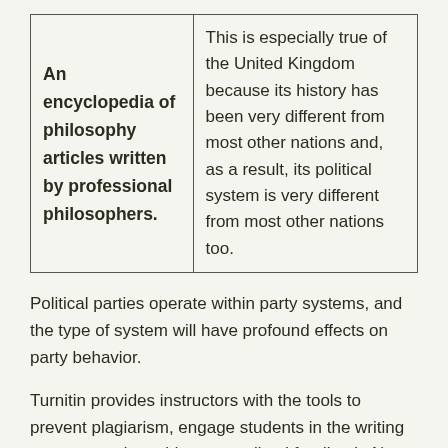| An encyclopedia of philosophy articles written by professional philosophers. | This is especially true of the United Kingdom because its history has been very different from most other nations and, as a result, its political system is very different from most other nations too. |
Political parties operate within party systems, and the type of system will have profound effects on party behavior.
Turnitin provides instructors with the tools to prevent plagiarism, engage students in the writing process, and provide personalized feedback. Note: You might want to start at the Obama Index Page, especially if you arrived here by using a search engine.